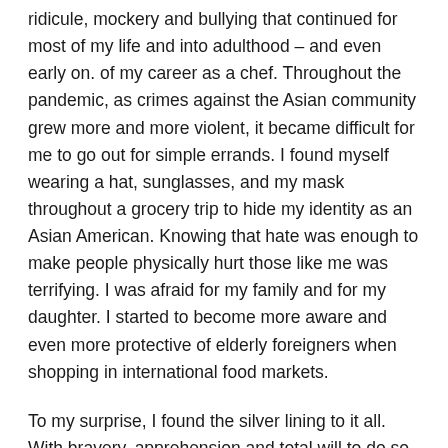ridicule, mockery and bullying that continued for most of my life and into adulthood – and even early on. of my career as a chef. Throughout the pandemic, as crimes against the Asian community grew more and more violent, it became difficult for me to go out for simple errands. I found myself wearing a hat, sunglasses, and my mask throughout a grocery trip to hide my identity as an Asian American. Knowing that hate was enough to make people physically hurt those like me was terrifying. I was afraid for my family and for my daughter. I started to become more aware and even more protective of elderly foreigners when shopping in international food markets.
To my surprise, I found the silver lining to it all. With bravery, apprehension and total will to do so, I chose to use my platform as a leader to support my AAPI community. Blessed with a large number of subscribers on our social media accounts, I shared the horrific headlines via Instagram and Facebook, knowing that I was helping to spread awareness gave me a sense of comfort. Almost immediately, others began to reach out. So many Asian